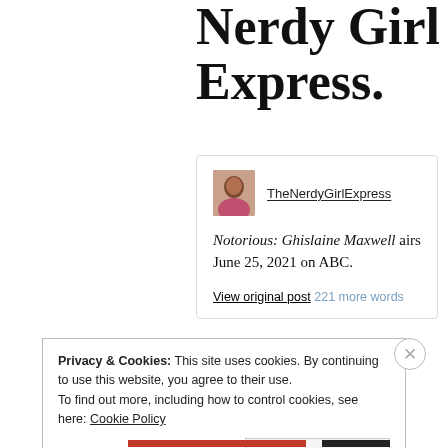Nerdy Girl Express.
[Figure (screenshot): Embedded social media card from TheNerdyGirlExpress with avatar photo, username, and post text: Notorious: Ghislaine Maxwell airs June 25, 2021 on ABC. View original post 221 more words]
Privacy & Cookies: This site uses cookies. By continuing to use this website, you agree to their use.
To find out more, including how to control cookies, see here: Cookie Policy
Close and accept